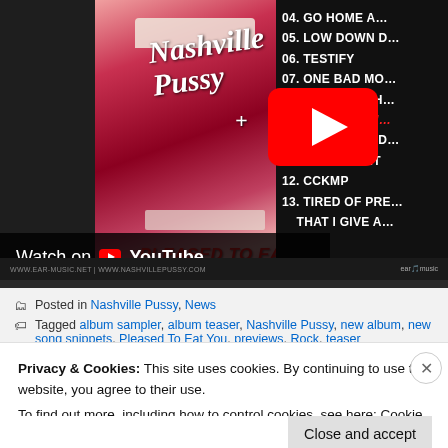[Figure (screenshot): YouTube video thumbnail showing Nashville Pussy album 'Pleased To Eat You' with album art (close-up of red lips) on left, track listing on right including tracks 04-13, and a YouTube play button overlay. A 'Watch on YouTube' bar appears below the thumbnail.]
Posted in Nashville Pussy, News
Tagged album sampler, album teaser, Nashville Pussy, new album, new song snippets, Pleased To Eat You, previews, Rock, teaser
Privacy & Cookies: This site uses cookies. By continuing to use this website, you agree to their use.
To find out more, including how to control cookies, see here: Cookie Policy
Close and accept